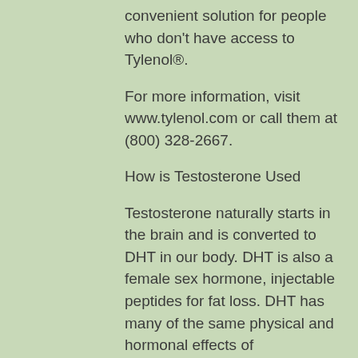convenient solution for people who don't have access to Tylenol®.
For more information, visit www.tylenol.com or call them at (800) 328-2667.
How is Testosterone Used
Testosterone naturally starts in the brain and is converted to DHT in our body. DHT is also a female sex hormone, injectable peptides for fat loss. DHT has many of the same physical and hormonal effects of testosterone, however it is more associated with aggression and aggression is linked strongly to fat gain, can weight clomid gain cause in males. Testosterone is not only a hormone, it can improve your mood, promote sexual functions and improve bone health. It's all about the timing, but as long as you take enough, you should see results, clenbuterol for fat loss dose.